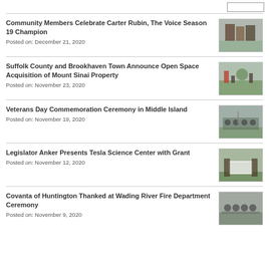Community Members Celebrate Carter Rubin, The Voice Season 19 Champion
Posted on: December 21, 2020
Suffolk County and Brookhaven Town Announce Open Space Acquisition of Mount Sinai Property
Posted on: November 23, 2020
Veterans Day Commemoration Ceremony in Middle Island
Posted on: November 19, 2020
Legislator Anker Presents Tesla Science Center with Grant
Posted on: November 12, 2020
Covanta of Huntington Thanked at Wading River Fire Department Ceremony
Posted on: November 9, 2020